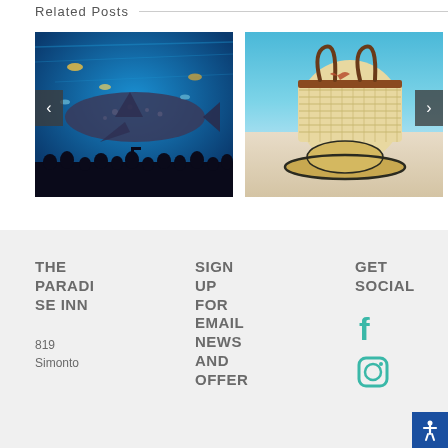Related Posts
[Figure (photo): Aquarium scene with whale shark and silhouettes of visitors viewing from below, with navigation arrow buttons on sides]
[Figure (photo): Beach scene with straw tote bag and sun hat on white sand with blue sky, with navigation arrow button]
THE PARADISE INN
819
Simonto
SIGN UP FOR EMAIL NEWS AND OFFER
GET SOCIAL